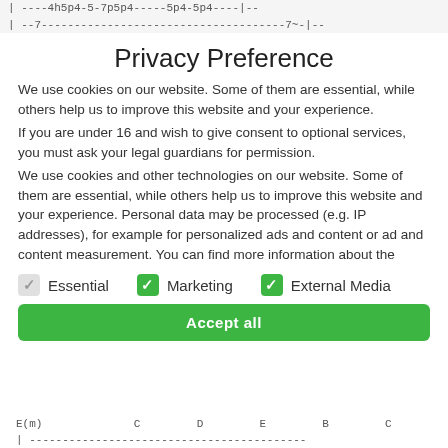| | ----4h5p4-5-7p5p4-----5p4-5p4----|-- |
| | --7-------------------------------------7~-|-- |
Privacy Preference
We use cookies on our website. Some of them are essential, while others help us to improve this website and your experience.
If you are under 16 and wish to give consent to optional services, you must ask your legal guardians for permission.
We use cookies and other technologies on our website. Some of them are essential, while others help us to improve this website and your experience. Personal data may be processed (e.g. IP addresses), for example for personalized ads and content or ad and content measurement. You can find more information about the
Essential
Marketing
External Media
Accept all
| E(m) | C | D | E | B | C |
| --- | --- | --- | --- | --- | --- |
| | ------------------------------------------ |